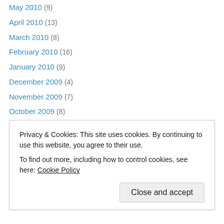May 2010 (9)
April 2010 (13)
March 2010 (8)
February 2010 (16)
January 2010 (9)
December 2009 (4)
November 2009 (7)
October 2009 (8)
September 2009 (8)
August 2009 (7)
July 2009 (4)
June 2009 (8)
May 2009 (7)
Privacy & Cookies: This site uses cookies. By continuing to use this website, you agree to their use.
To find out more, including how to control cookies, see here: Cookie Policy